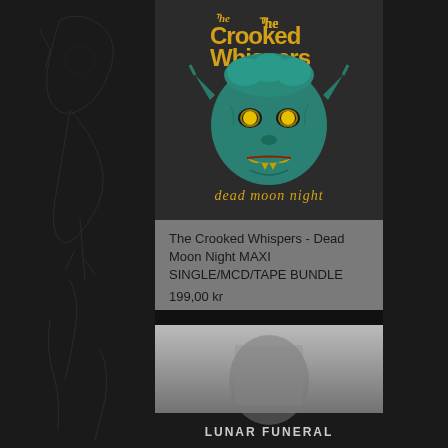[Figure (photo): Album cover for The Crooked Whispers - Dead Moon Night, showing a teal/turquoise demonic skull/goblin face with yellow glowing eyes against a dark background, with the band name in yellow gothic text at top and 'dead moon night' in yellow text at bottom]
The Crooked Whispers - Dead Moon Night MAXI SINGLE/MCD/TAPE BUNDLE
199,00 kr
[Figure (photo): Partially visible album cover in grayscale with text 'LUNAR FUNERAL' visible at the bottom]